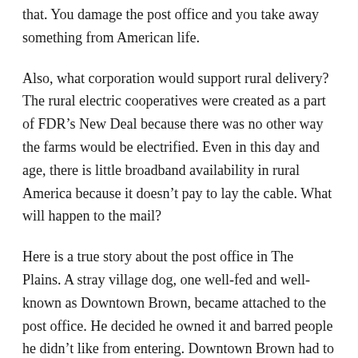that. You damage the post office and you take away something from American life.
Also, what corporation would support rural delivery? The rural electric cooperatives were created as a part of FDR's New Deal because there was no other way the farms would be electrified. Even in this day and age, there is little broadband availability in rural America because it doesn't pay to lay the cable. What will happen to the mail?
Here is a true story about the post office in The Plains. A stray village dog, one well-fed and well-known as Downtown Brown, became attached to the post office. He decided he owned it and barred people he didn't like from entering. Downtown Brown had to be rusticated to a farm so that the people of The Plains — population 238 — could once again use the